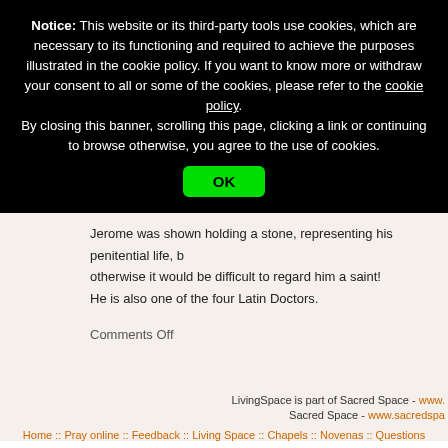Notice: This website or its third-party tools use cookies, which are necessary to its functioning and required to achieve the purposes illustrated in the cookie policy. If you want to know more or withdraw your consent to all or some of the cookies, please refer to the cookie policy. By closing this banner, scrolling this page, clicking a link or continuing to browse otherwise, you agree to the use of cookies.
OK
Jerome was shown holding a stone, representing his penitential life, b... otherwise it would be difficult to regard him a saint! He is also one of the four Latin Doctors.
Comments Off
LivingSpace is part of Sacred Space - www. | Sacred Space - www.sacredspa... | Home :: Pray online :: Feedback :: Living Space :: Chapels :: Novenas :: Questions